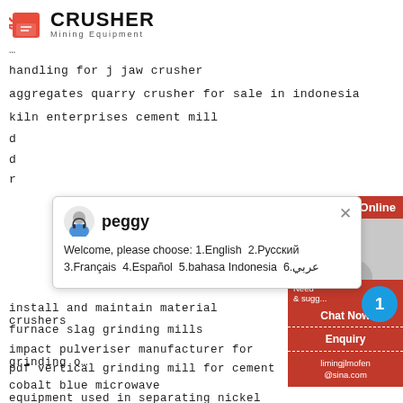[Figure (logo): Crusher Mining Equipment logo with red shopping bag icon and bold black CRUSHER text]
handling for j jaw crusher
aggregates quarry crusher for sale in indonesia
kiln enterprises cement mill
d
d
r
[Figure (screenshot): Chat popup with avatar of peggy, showing welcome message: Welcome, please choose: 1.English 2.Русский 3.Français 4.Español 5.bahasa Indonesia 6.عربي]
install and maintain material crushers
furnace slag grinding mills
impact pulveriser manufacturer for grinding o
pdf vertical grinding mill for cement
cobalt blue microwave
equipment used in separating nickel from ore
[Figure (infographic): Red sidebar with 24Hrs Online, Need & suggestions area, Chat Now button, Enquiry section, limingjlmofen@sina.com email, and blue notification badge showing 1]